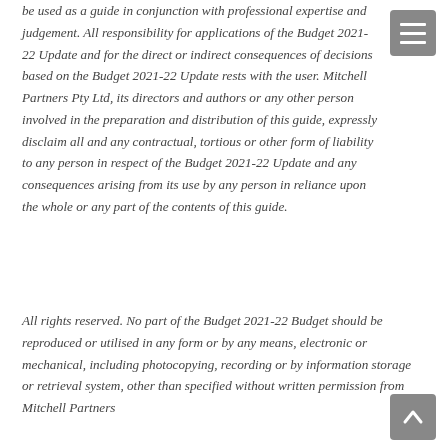be used as a guide in conjunction with professional expertise and judgement. All responsibility for applications of the Budget 2021-22 Update and for the direct or indirect consequences of decisions based on the Budget 2021-22 Update rests with the user. Mitchell Partners Pty Ltd, its directors and authors or any other person involved in the preparation and distribution of this guide, expressly disclaim all and any contractual, tortious or other form of liability to any person in respect of the Budget 2021-22 Update and any consequences arising from its use by any person in reliance upon the whole or any part of the contents of this guide.
All rights reserved. No part of the Budget 2021-22 Budget should be reproduced or utilised in any form or by any means, electronic or mechanical, including photocopying, recording or by information storage or retrieval system, other than specified without written permission from Mitchell Partners